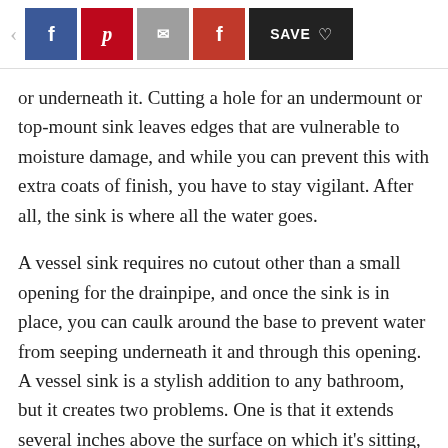< f p [mail] f SAVE ♡
or underneath it. Cutting a hole for an undermount or top-mount sink leaves edges that are vulnerable to moisture damage, and while you can prevent this with extra coats of finish, you have to stay vigilant. After all, the sink is where all the water goes.
A vessel sink requires no cutout other than a small opening for the drainpipe, and once the sink is in place, you can caulk around the base to prevent water from seeping underneath it and through this opening. A vessel sink is a stylish addition to any bathroom, but it creates two problems. One is that it extends several inches above the surface on which it's sitting, so you'll probably have to lower the countertop to ensure comfortable access to the sink, and the other is that it